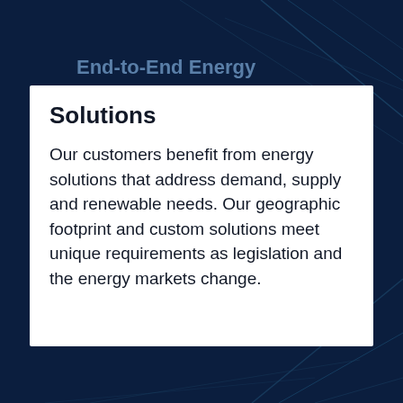End-to-End Energy
Solutions
Our customers benefit from energy solutions that address demand, supply and renewable needs. Our geographic footprint and custom solutions meet unique requirements as legislation and the energy markets change.